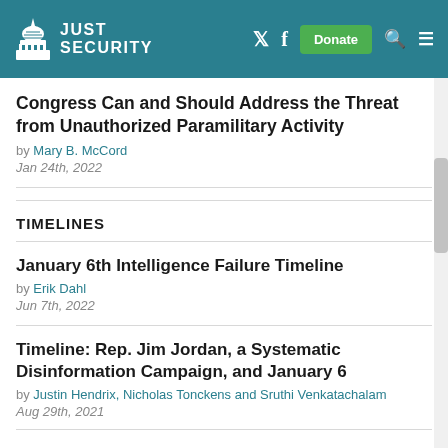JUST SECURITY
Congress Can and Should Address the Threat from Unauthorized Paramilitary Activity
by Mary B. McCord
Jan 24th, 2022
TIMELINES
January 6th Intelligence Failure Timeline
by Erik Dahl
Jun 7th, 2022
Timeline: Rep. Jim Jordan, a Systematic Disinformation Campaign, and January 6
by Justin Hendrix, Nicholas Tonckens and Sruthi Venkatachalam
Aug 29th, 2021